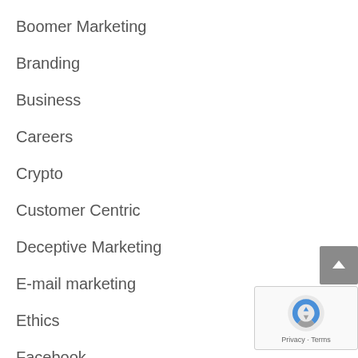Boomer Marketing
Branding
Business
Careers
Crypto
Customer Centric
Deceptive Marketing
E-mail marketing
Ethics
Facebook
Fashion
Find the Fraud